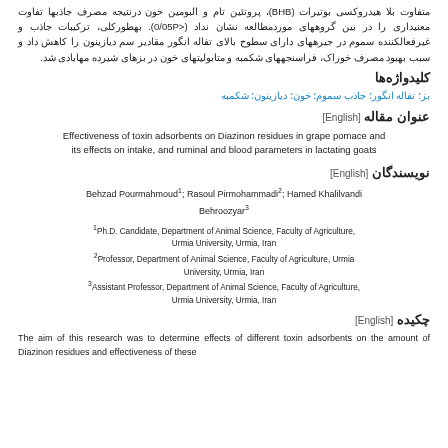متفاوت بلا هیدروکسی بوتیرات (BHB)، پروتئین تام و البومین خون درنتیجه مصرف جاذبها تفاوت معنیداری را در بین گروههای موردمطالعه نشان نداد (<0/05P). بهطورکلی، ترکیبات جاذب و غیرفعالکننده سموم در جیرههای دارای سطوح بالای تفاله انگور مقادیر سم دیازینون را کاهش داد و سبب بهبود مصرف خوراک، فراسنجههای شکمبه و متابولیتهای خون در بزهای شیرده مهابادی شد.
کلیدواژهها
بز؛ تفاله انگور؛ جاذب سموم؛ خون؛ دیازینون؛ شکمبه
عنوان مقاله [English]
Effectiveness of toxin adsorbents on Diazinon residues in grape pomace and its effects on intake, and ruminal and blood parameters in lactating goats
نویسندگان [English]
Behzad Pourmahmoud1; Rasoul Pirmohammadi2; Hamed Khalilvandi Behroozyar3
1Ph.D. Candidate, Department of Animal Science, Faculty of Agriculture, Urmia University, Urmia, Iran
2Professor, Department of Animal Science, Faculty of Agriculture, Urmia University, Urmia, Iran
3Assistant Professor, Department of Animal Science, Faculty of Agriculture, Urmia University, Urmia, Iran
چکیده [English]
The aim of this research was to determine effects of different toxin adsorbents on the amount of Diazinon residues and effectiveness of these